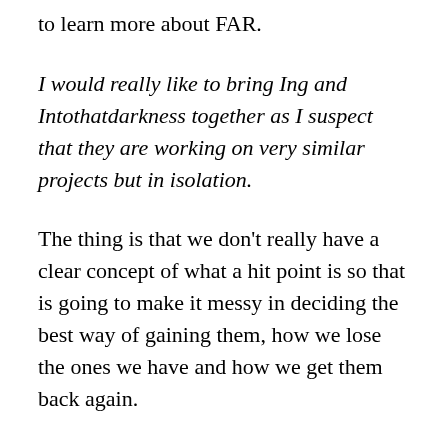to learn more about FAR.
I would really like to bring Ing and Intothatdarkness together as I suspect that they are working on very similar projects but in isolation.
The thing is that we don't really have a clear concept of what a hit point is so that is going to make it messy in deciding the best way of gaining them, how we lose the ones we have and how we get them back again.
While I was writing this reply I had another idea.